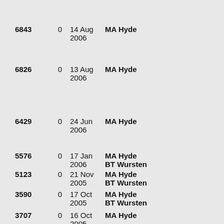| ID | Count | Date | Name |
| --- | --- | --- | --- |
| 6843 | 0 | 14 Aug 2006 | MA Hyde |
| 6826 | 0 | 13 Aug 2006 | MA Hyde |
| 6429 | 0 | 24 Jun 2006 | MA Hyde |
| 5576 | 0 | 17 Jan 2006 | MA Hyde BT Wursten |
| 5123 | 0 | 21 Nov 2005 | MA Hyde BT Wursten |
| 3590 | 0 | 17 Oct 2005 | MA Hyde BT Wursten |
| 3707 | 0 | 16 Oct 2005 | MA Hyde |